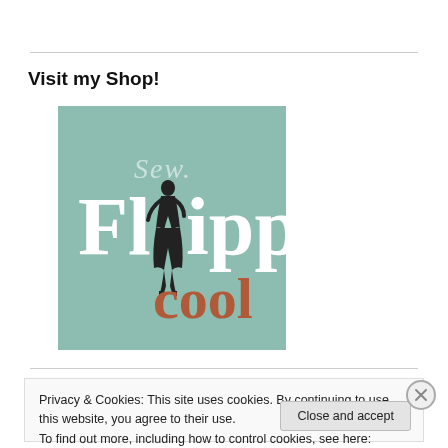Visit my Shop!
[Figure (logo): Sew Flippin Cool shop logo — mint/sage green square background with white serif text reading 'Flippin' and cursive script 'Sew' above, and brown text 'cool' below, with a silhouette of a woman in a dress]
Privacy & Cookies: This site uses cookies. By continuing to use this website, you agree to their use.
To find out more, including how to control cookies, see here: Cookie Policy
Close and accept